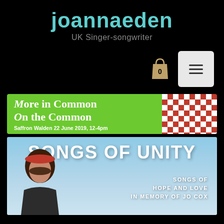joannaeden
UK Singer-songwriter
[Figure (screenshot): Shopping cart icon with number 0 and hamburger menu button on black background]
[Figure (illustration): Green banner reading 'More in Common On the Common – Saffron Walden 22 June 2019, 12-4pm' with red and white checkered pattern on right]
[Figure (illustration): Album cover for 'Songs of Unity – Songs of Hope and Love in Memory of Jo Cox' with woman wearing red headband against blue sky background]